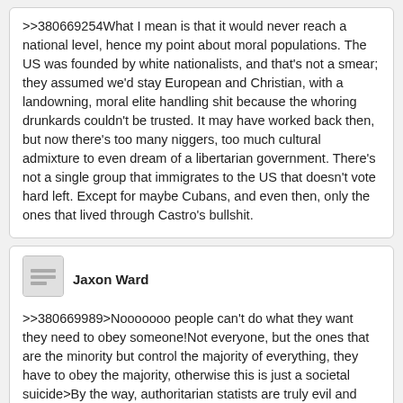>>380669254What I mean is that it would never reach a national level, hence my point about moral populations. The US was founded by white nationalists, and that's not a smear; they assumed we'd stay European and Christian, with a landowning, moral elite handling shit because the whoring drunkards couldn't be trusted. It may have worked back then, but now there's too many niggers, too much cultural admixture to even dream of a libertarian government. There's not a single group that immigrates to the US that doesn't vote hard left. Except for maybe Cubans, and even then, only the ones that lived through Castro's bullshit.
Jaxon Ward
>>380669989>Nooooooo people can't do what they want they need to obey someone!Not everyone, but the ones that are the minority but control the majority of everything, they have to obey the majority, otherwise this is just a societal suicide>By the way, authoritarian statists are truly evil and satanic.This just reads as a